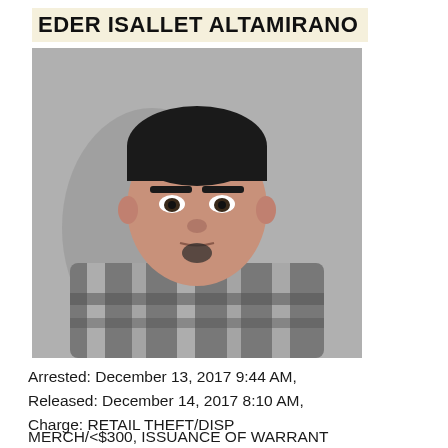EDER ISALLET ALTAMIRANO
[Figure (photo): Mugshot of Eder Isallet Altamirano, a young male wearing a gray and black plaid flannel shirt over a dark t-shirt, with short dark hair and a small goatee, photographed against a gray background.]
Arrested: December 13, 2017 9:44 AM,
Released: December 14, 2017 8:10 AM,
Charge: RETAIL THEFT/DISP
MERCH/<$300, ISSUANCE OF WARRANT